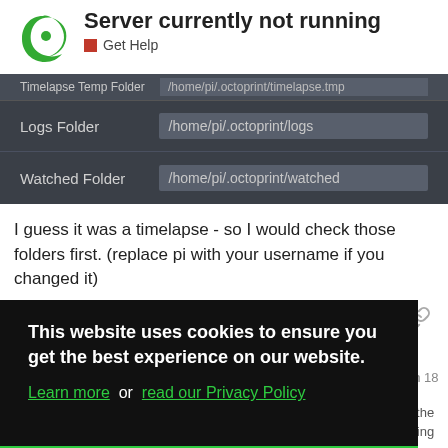Server currently not running
Get Help
[Figure (screenshot): OctoPrint settings screenshot showing Logs Folder: /home/pi/.octoprint/logs and Watched Folder: /home/pi/.octoprint/watched on a dark background]
I guess it was a timelapse - so I would check those folders first. (replace pi with your username if you changed it)
This website uses cookies to ensure you get the best experience on our website. Learn more or read our Privacy Policy Got it!
Jun 18
on the elating
OctoEverywhere plugin was failing to conr